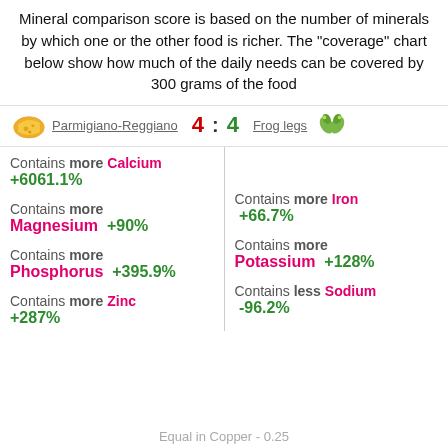Mineral comparison score is based on the number of minerals by which one or the other food is richer. The "coverage" chart below show how much of the daily needs can be covered by 300 grams of the food
Parmigiano-Reggiano 4 : 4 Frog legs
Contains more Calcium +6061.1%
Contains more Magnesium +90%
Contains more Iron +66.7%
Contains more Phosphorus +395.9%
Contains more Potassium +128%
Contains more Zinc +287%
Contains less Sodium -96.2%
Equal in Copper - 0.25